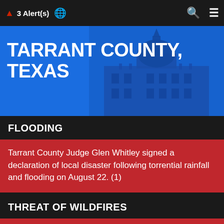🔔 3 Alert(s) 🌐
TARRANT COUNTY, TEXAS
FLOODING
Tarrant County Judge Glen Whitley signed a declaration of local disaster following torrential rainfall and flooding on August 22. (1)
THREAT OF WILDFIRES
Tarrant County Judge Glen Whitley signed a disaster declaration
< PREVENTIVE HEALTH SERVICES +